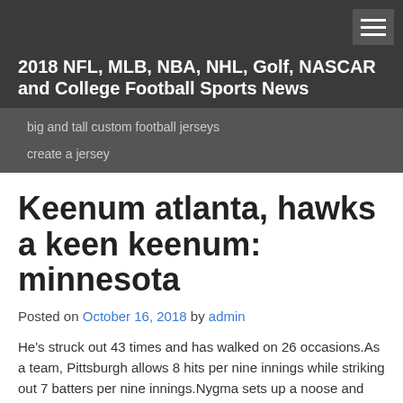2018 NFL, MLB, NBA, NHL, Golf, NASCAR and College Football Sports News
big and tall custom football jerseys
create a jersey
Keenum atlanta, hawks a keen keenum: minnesota
Posted on October 16, 2018 by admin
He's struck out 43 times and has walked on 26 occasions.As a team, Pittsburgh allows 8 hits per nine innings while striking out 7 batters per nine innings.Nygma sets up a noose and tells the Riddler that killing himself was his idea.They averaged http://www.officiallachargersshop.com/Doug_Flutie_Jersey_Cheap 271 yards and 1 touchdowns per game through the air as well.$5